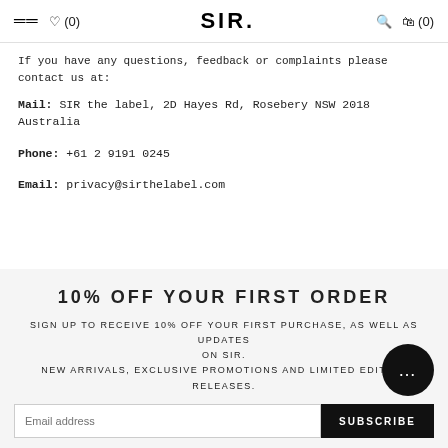≡  ♡ (0)   SIR.   🔍  🛍 (0)
If you have any questions, feedback or complaints please contact us at:
Mail: SIR the label, 2D Hayes Rd, Rosebery NSW 2018 Australia
Phone: +61 2 9191 0245
Email: privacy@sirthelabel.com
10% OFF YOUR FIRST ORDER
SIGN UP TO RECEIVE 10% OFF YOUR FIRST PURCHASE, AS WELL AS UPDATES ON SIR. NEW ARRIVALS, EXCLUSIVE PROMOTIONS AND LIMITED EDITION RELEASES.